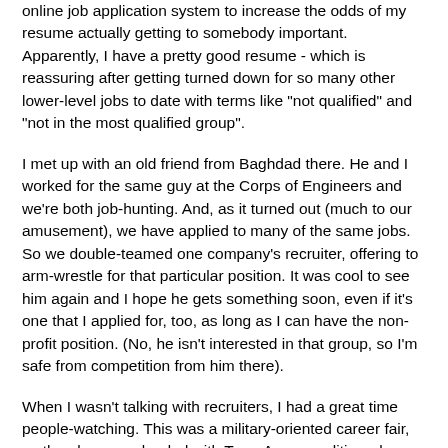online job application system to increase the odds of my resume actually getting to somebody important. Apparently, I have a pretty good resume - which is reassuring after getting turned down for so many other lower-level jobs to date with terms like "not qualified" and "not in the most qualified group".
I met up with an old friend from Baghdad there. He and I worked for the same guy at the Corps of Engineers and we're both job-hunting. And, as it turned out (much to our amusement), we have applied to many of the same jobs. So we double-teamed one company's recruiter, offering to arm-wrestle for that particular position. It was cool to see him again and I hope he gets something soon, even if it's one that I applied for, too, as long as I can have the non-profit position. (No, he isn't interested in that group, so I'm safe from competition from him there).
When I wasn't talking with recruiters, I had a great time people-watching. This was a military-oriented career fair, so the place was loaded with Type-A personalities who were on a mission. Don't get in their way or you'll get run over. The newly separated or soon-to-be separated guys seemed to be